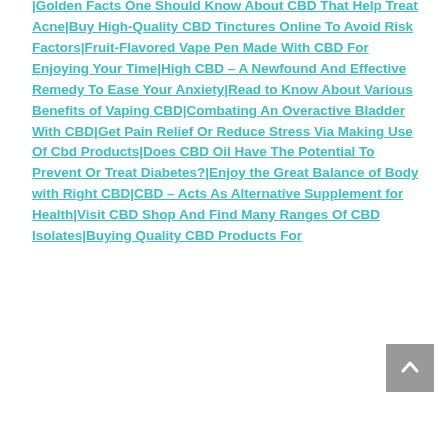|Golden Facts One Should Know About CBD That Help Treat Acne|Buy High-Quality CBD Tinctures Online To Avoid Risk Factors|Fruit-Flavored Vape Pen Made With CBD For Enjoying Your Time|High CBD – A Newfound And Effective Remedy To Ease Your Anxiety|Read to Know About Various Benefits of Vaping CBD|Combating An Overactive Bladder With CBD|Get Pain Relief Or Reduce Stress Via Making Use Of Cbd Products|Does CBD Oil Have The Potential To Prevent Or Treat Diabetes?|Enjoy the Great Balance of Body with Right CBD|CBD – Acts As Alternative Supplement for Health|Visit CBD Shop And Find Many Ranges Of CBD Isolates|Buying Quality CBD Products For